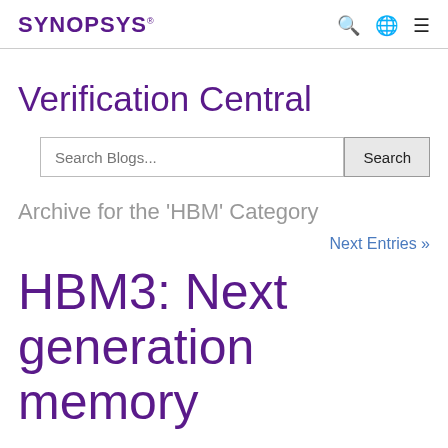SYNOPSYS
Verification Central
Search Blogs...
Archive for the 'HBM' Category
Next Entries »
HBM3: Next generation memory